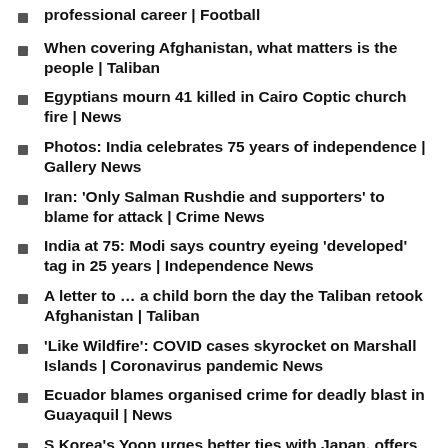professional career | Football
When covering Afghanistan, what matters is the people | Taliban
Egyptians mourn 41 killed in Cairo Coptic church fire | News
Photos: India celebrates 75 years of independence | Gallery News
Iran: 'Only Salman Rushdie and supporters' to blame for attack | Crime News
India at 75: Modi says country eyeing 'developed' tag in 25 years | Independence News
A letter to … a child born the day the Taliban retook Afghanistan | Taliban
'Like Wildfire': COVID cases skyrocket on Marshall Islands | Coronavirus pandemic News
Ecuador blames organised crime for deadly blast in Guayaquil | News
S Korea's Yoon urges better ties with Japan, offers N Korea aid | Government News
Israeli army kills Palestinian youth in occupied East Jerusalem | Israel-Palestine conflict News
Russia-Ukraine war: List of key events, day 173 |